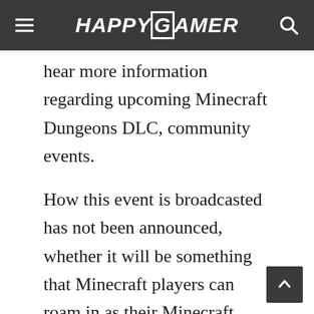HAPPYGAMER
hear more information regarding upcoming Minecraft Dungeons DLC, community events.
How this event is broadcasted has not been announced, whether it will be something that Minecraft players can roam in as their Minecraft avatar or just a video live stream that anyone is able to view and tune in.
As of right now, we are still waiting for more information that can come in the form of